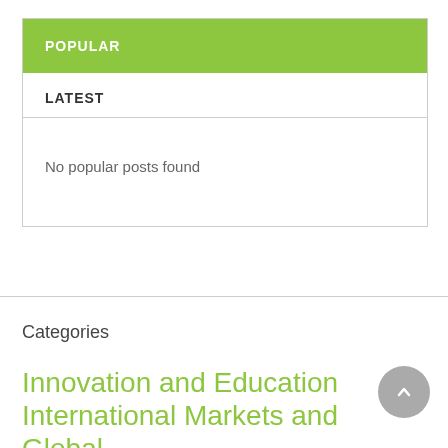POPULAR
LATEST
No popular posts found
Categories
Innovation and Education International Markets and Global Food Security Other State